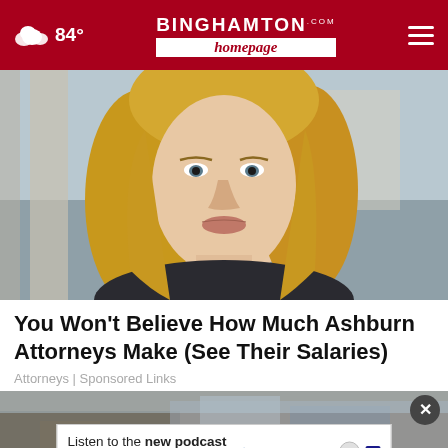84° | BinghamtonHomepage.com
[Figure (photo): Close-up portrait of a young blonde woman with straight hair, serious expression, outdoors with blurred background of columns]
You Won't Believe How Much Ashburn Attorneys Make (See Their Salaries)
Attorneys | Sponsored Links
[Figure (photo): Partial view of a building exterior, with an advertisement overlay: 'Listen to the new podcast about adoption.' with Adopt US Kids logo and ad tag]
Listen to the new podcast about adoption.